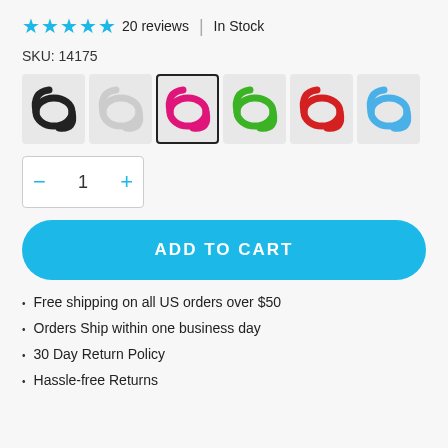★★★★★ 20 reviews | In Stock
SKU: 14175
[Figure (other): Six color swatches of flat cables: black, white, pink (selected), green, red, blue]
Quantity selector: − 1 +
ADD TO CART
Free shipping on all US orders over $50
Orders Ship within one business day
30 Day Return Policy
Hassle-free Returns